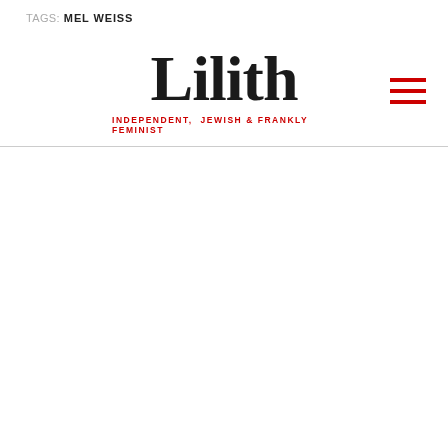TAGS: MEL WEISS
[Figure (logo): Lilith magazine logo with serif wordmark 'Lilith' and red tagline 'INDEPENDENT, JEWISH & FRANKLY FEMINIST', plus red hamburger menu icon on the right]